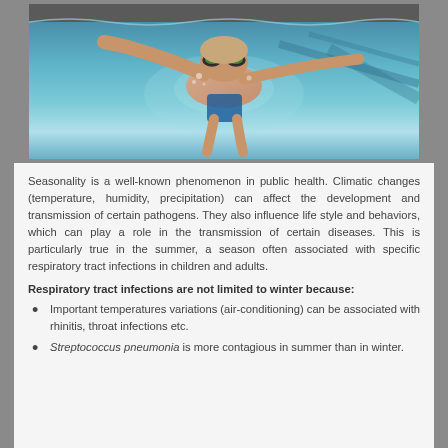[Figure (photo): Underwater photo of a child swimmer wearing goggles, swimming in a pool lane viewed from below]
Seasonality is a well-known phenomenon in public health. Climatic changes (temperature, humidity, precipitation) can affect the development and transmission of certain pathogens. They also influence life style and behaviors, which can play a role in the transmission of certain diseases. This is particularly true in the summer, a season often associated with specific respiratory tract infections in children and adults.
Respiratory tract infections are not limited to winter because:
Important temperatures variations (air-conditioning) can be associated with rhinitis, throat infections etc.
Streptococcus pneumonia is more contagious in summer than in winter.